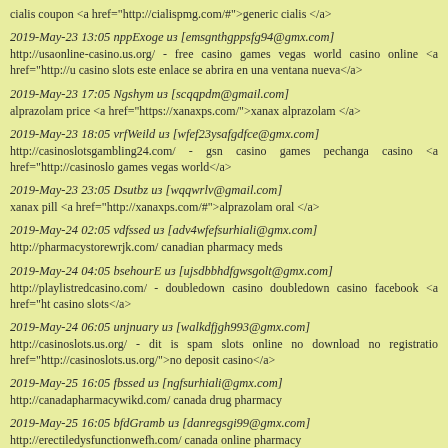cialis coupon <a href="http://cialispmg.com/#">generic cialis </a>
2019-May-23 13:05 nppExoge из [emsgnthgppsfg94@gmx.com]
http://usaonline-casino.us.org/ - free casino games vegas world casino online <a href="http://u casino slots este enlace se abrira en una ventana nueva</a>
2019-May-23 17:05 Ngshym из [scqqpdm@gmail.com]
alprazolam price <a href="https://xanaxps.com/">xanax alprazolam </a>
2019-May-23 18:05 vrfWeild из [wfef23ysafgdfce@gmx.com]
http://casinoslotsgambling24.com/ - gsn casino games pechanga casino <a href="http://casinoslot games vegas world</a>
2019-May-23 23:05 Dsutbz из [wqqwrlv@gmail.com]
xanax pill <a href="http://xanaxps.com/#">alprazolam oral </a>
2019-May-24 02:05 vdfssed из [adv4wfefsurhiali@gmx.com]
http://pharmacystorewrjk.com/ canadian pharmacy meds
2019-May-24 04:05 bsehourE из [ujsdbbhdfgwsgolt@gmx.com]
http://playlistredcasino.com/ - doubledown casino doubledown casino facebook <a href="ht casino slots</a>
2019-May-24 06:05 unjnuary из [walkdfjgh993@gmx.com]
http://casinoslots.us.org/ - dit is spam slots online no download no registratio href="http://casinoslots.us.org/">no deposit casino</a>
2019-May-25 16:05 fbssed из [ngfsurhiali@gmx.com]
http://canadapharmacywikd.com/ canada drug pharmacy
2019-May-25 16:05 bfdGramb из [danregsgi99@gmx.com]
http://erectiledysfunctionwefh.com/ canada online pharmacy
2019-May-26 06:05 vdsWeild из [wfea23ysafgdfce@gmx.com]